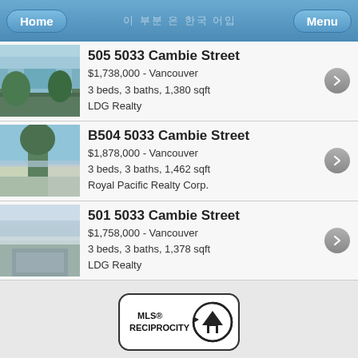Home   [Korean text]   Menu
505 5033 Cambie Street
$1,738,000 - Vancouver
3 beds, 3 baths, 1,380 sqft
LDG Realty
B504 5033 Cambie Street
$1,878,000 - Vancouver
3 beds, 3 baths, 1,462 sqft
Royal Pacific Realty Corp.
501 5033 Cambie Street
$1,758,000 - Vancouver
3 beds, 3 baths, 1,378 sqft
LDG Realty
[Figure (logo): MLS Reciprocity logo]
Disclaimer: Listing data is based in whole or in part on data generated by the Real Estate Board of Greater Vancouver and Fraser Valley Real Estate Board which assumes no responsibility for its accuracy.